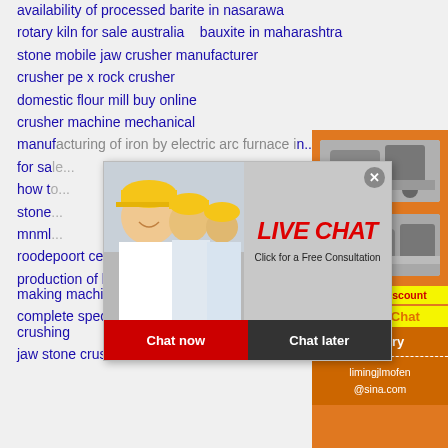availability of processed barite in nasarawa
rotary kiln for sale australia   bauxite in maharashtra
stone mobile jaw crusher manufacturer
crusher pe x rock crusher
domestic flour mill buy online
crusher machine mechanical
manufacturing of iron by electric arc furnace in...
for sa...
how t...
stone...
mnml...
roodepoort cement plant production
production of lightweight aggregates used vsi5x sand making machine
complete specifications jaw crusher for granite crushing
jaw stone crushers for sale for sale manufacturers
[Figure (screenshot): Orange sidebar with mining/crushing machine images, discount offer, click to chat, enquiry section, and email contact limingjlmofen@sina.com]
[Figure (screenshot): Live chat overlay popup with workers in hard hats photo, LIVE CHAT title in red italic, Click for a Free Consultation text, Chat now and Chat later buttons]